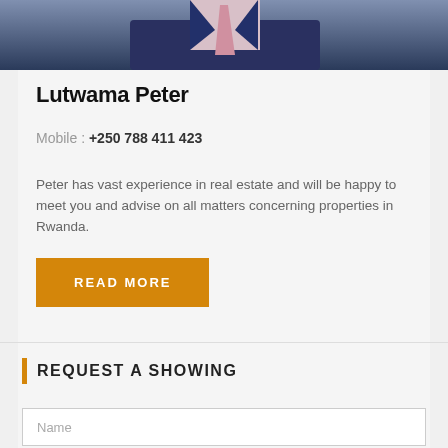[Figure (photo): Partial photo of a man in a dark suit with a pink tie, cropped at the top of the page]
Lutwama Peter
Mobile : +250 788 411 423
Peter has vast experience in real estate and will be happy to meet you and advise on all matters concerning properties in Rwanda.
READ MORE
REQUEST A SHOWING
Name